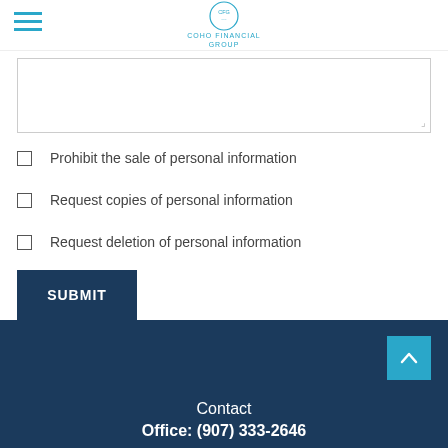COHO FINANCIAL GROUP
[Text area input field]
Prohibit the sale of personal information
Request copies of personal information
Request deletion of personal information
SUBMIT
Contact
Office: (907) 333-2646